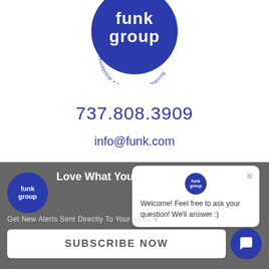[Figure (logo): Funk Group circular logo — dark blue circle with 'funk group' in white bold text, arc text 'residential • commercial • leasing' around the bottom]
737.808.3909
info@funk.com
[Figure (screenshot): Dark gray banner with funk group small logo, heading 'Love What You Are Reading?', close X button, and overlapping chat popup with 'Welcome! Feel free to ask your question! We'll answer :)', subscribe label 'Get New Alerts Sent Directly To Your Inbox', SUBSCRIBE NOW button, and chat icon circle]
Love What You Are Reading?
Welcome! Feel free to ask your question! We'll answer :)
Get New Alerts Sent Directly To Your Inbox
SUBSCRIBE NOW